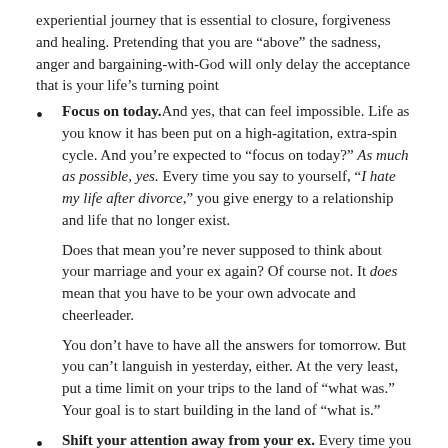experiential journey that is essential to closure, forgiveness and healing. Pretending that you are “above” the sadness, anger and bargaining-with-God will only delay the acceptance that is your life’s turning point
Focus on today. And yes, that can feel impossible. Life as you know it has been put on a high-agitation, extra-spin cycle. And you’re expected to “focus on today?” As much as possible, yes. Every time you say to yourself, “I hate my life after divorce,” you give energy to a relationship and life that no longer exist.
Does that mean you’re never supposed to think about your marriage and your ex again? Of course not. It does mean that you have to be your own advocate and cheerleader.
You don’t have to have all the answers for tomorrow. But you can’t languish in yesterday, either. At the very least, put a time limit on your trips to the land of “what was.” Your goal is to start building in the land of “what is.”
Shift your attention away from your ex. Every time you start ruminating, blaming and litigating in your mind or conversations, you give away your power. “Yeah, but he’s the one who…” “She never…” “S/he always…” “Not only does this displacement of